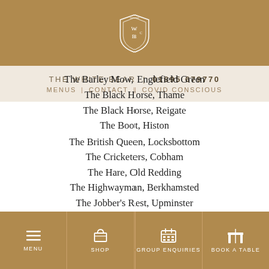[Figure (logo): The White Bear pub logo — a shield emblem with W, B, C letters]
THE WHITE BEAR  |  01895 679770
MENUS  |  CONTACT  |  COVID CONSCIOUS
The Barley Mow, Englefield Green
The Black Horse, Thame
The Black Horse, Reigate
The Boot, Histon
The British Queen, Locksbottom
The Cricketers, Cobham
The Hare, Old Redding
The Highwayman, Berkhamsted
The Jobber's Rest, Upminster
The Jolly Farmer, Chalfont St Peter
The King's Arms, Prestbury
MENU  |  SHOP  |  GROUP ENQUIRIES  |  BOOK A TABLE